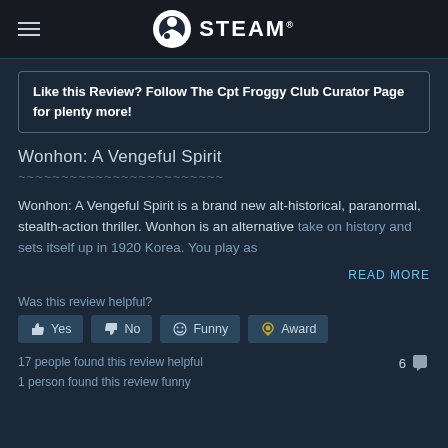STEAM
Like this Review? Follow The Cpt Froggy Club Curator Page for plenty more!
Wonhon: A Vengeful Spirit
Wonhon: A Vengeful Spirit is a brand new alt-historical, paranormal, stealth-action thriller. Wonhon is an alternative take on history and sets itself up in 1920 Korea. You play as
READ MORE
Was this review helpful?
Yes  No  Funny  Award
17 people found this review helpful
1 person found this review funny
6